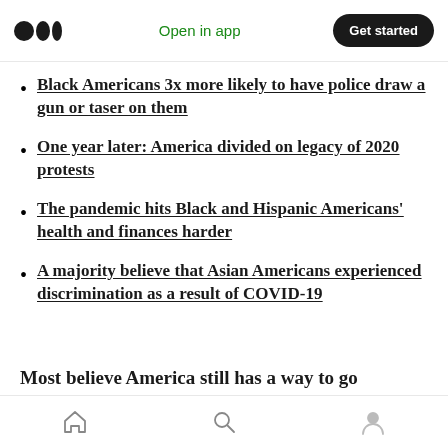Open in app | Get started
Black Americans 3x more likely to have police draw a gun or taser on them
One year later: America divided on legacy of 2020 protests
The pandemic hits Black and Hispanic Americans' health and finances harder
A majority believe that Asian Americans experienced discrimination as a result of COVID-19
Most believe America still has a way to go
Home | Search | Profile